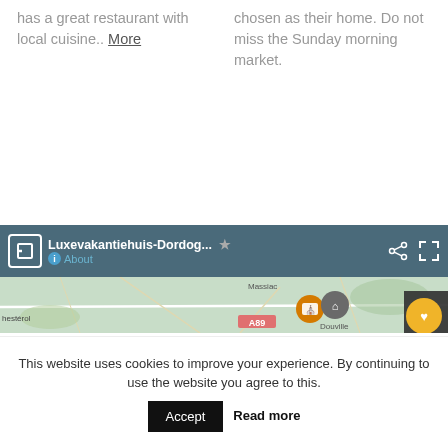has a great restaurant with local cuisine.. More
chosen as their home. Do not miss the Sunday morning market.
[Figure (screenshot): Google Maps embedded widget showing 'Luxevakantiehuis-Dordog...' with a star icon, share icon, fullscreen icon, About link, and a map tile showing roads near Massiac area with map markers and A89 road label, plus an up-arrow button and yellow heart button.]
This website uses cookies to improve your experience. By continuing to use the website you agree to this. Accept Read more